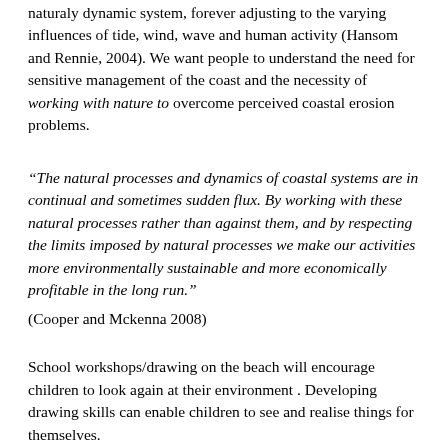naturaly dynamic system, forever adjusting to the varying influences of tide, wind, wave and human activity (Hansom and Rennie, 2004). We want people to understand the need for sensitive management of the coast and the necessity of working with nature to overcome perceived coastal erosion problems.
“The natural processes and dynamics of coastal systems are in continual and sometimes sudden flux. By working with these natural processes rather than against them, and by respecting the limits imposed by natural processes we make our activities more environmentally sustainable and more economically profitable in the long run.”
(Cooper and Mckenna 2008)
School workshops/drawing on the beach will encourage children to look again at their environment . Developing drawing skills can enable children to see and realise things for themselves.